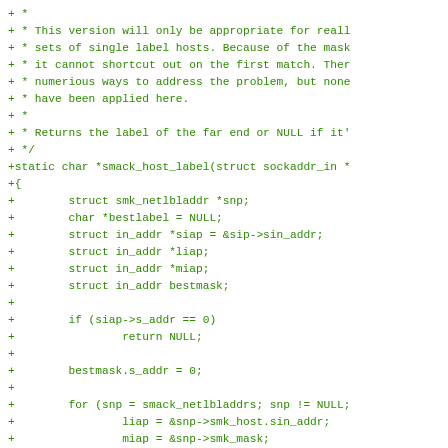+ *
+ * This version will only be appropriate for reall
+ * sets of single label hosts. Because of the mask
+ * it cannot shortcut out on the first match. Ther
+ * numerious ways to address the problem, but none
+ * have been applied here.
+ *
+ * Returns the label of the far end or NULL if it'
+ */
+static char *smack_host_label(struct sockaddr_in *
+{
+        struct smk_netlbladdr *snp;
+        char *bestlabel = NULL;
+        struct in_addr *siap = &sip->sin_addr;
+        struct in_addr *liap;
+        struct in_addr *miap;
+        struct in_addr bestmask;
+
+        if (siap->s_addr == 0)
+                return NULL;
+
+        bestmask.s_addr = 0;
+
+        for (snp = smack_netlbladdrs; snp != NULL;
+                liap = &snp->smk_host.sin_addr;
+                miap = &snp->smk_mask;
+                /*
+                 * If the addresses match after app
+                 * the entry matches the address. I
+                 * the next entry.